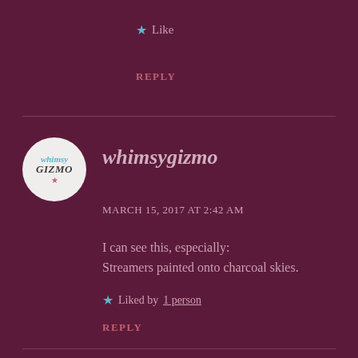★ Like
REPLY
whimsygizmo
MARCH 15, 2017 AT 2:42 AM
I can see this, especially:
Streamers painted onto charcoal skies.
★ Liked by 1 person
REPLY